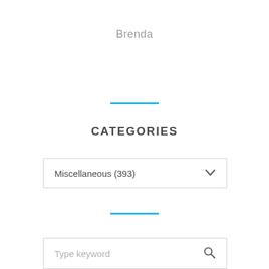Brenda
CATEGORIES
Miscellaneous (393)
Type keyword